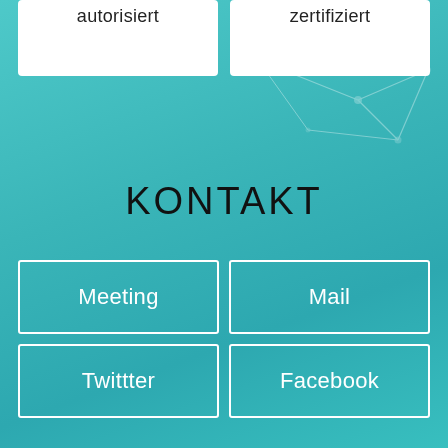autorisiert
zertifiziert
KONTAKT
Meeting
Mail
Twittter
Facebook